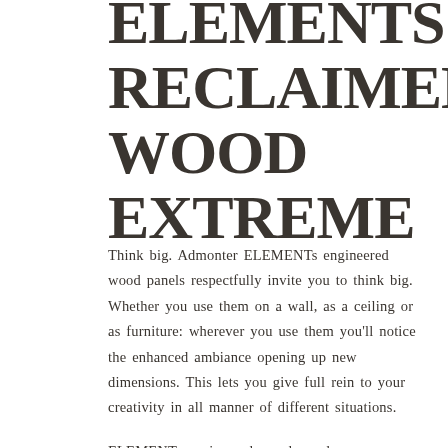ELEMENTS RECLAIMED WOOD EXTREME
Think big. Admonter ELEMENTs engineered wood panels respectfully invite you to think big. Whether you use them on a wall, as a ceiling or as furniture: wherever you use them you'll notice the enhanced ambiance opening up new dimensions. This lets you give full rein to your creativity in all manner of different situations.
ELEMENTs engineered wood panels range